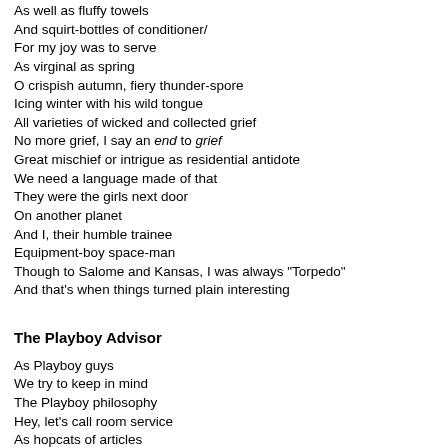As well as fluffy towels
And squirt-bottles of conditioner/
For my joy was to serve
As virginal as spring
O crispish autumn, fiery thunder-spore
Icing winter with his wild tongue
All varieties of wicked and collected grief
No more grief, I say an end to grief
Great mischief or intrigue as residential antidote
We need a language made of that
They were the girls next door
On another planet
And I, their humble trainee
Equipment-boy space-man
Though to Salome and Kansas, I was always "Torpedo"
And that's when things turned plain interesting
The Playboy Advisor
As Playboy guys
We try to keep in mind
The Playboy philosophy
Hey, let's call room service
As hopcats of articles